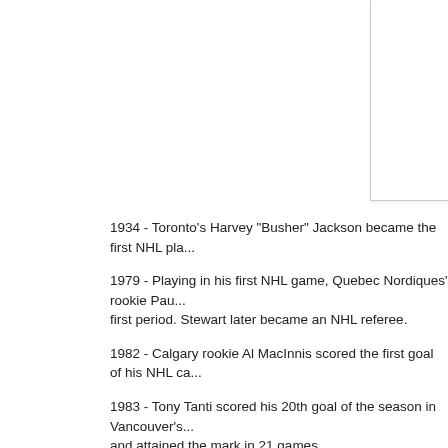[Figure (other): White rectangular image/photo area in upper right corner of the page]
1934 - Toronto's Harvey "Busher" Jackson became the first NHL pla...
1979 - Playing in his first NHL game, Quebec Nordiques' rookie Pau... first period. Stewart later became an NHL referee.
1982 - Calgary rookie Al MacInnis scored the first goal of his NHL ca...
1983 - Tony Tanti scored his 20th goal of the season in Vancouver's... and attained the mark in 21 games.
1999 - Washington Capitals set an NHL record by going 12 consecu...
2001 - Dallas Stars traded Donald Audette and Shaun Van Allen to M...